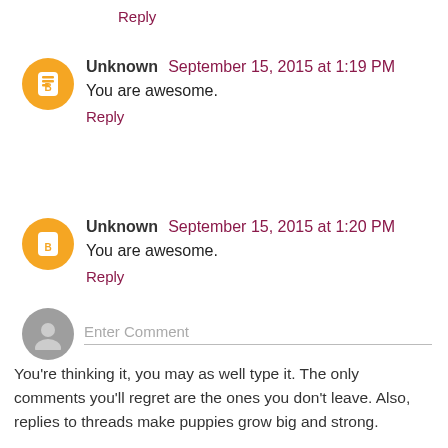Reply
Unknown September 15, 2015 at 1:19 PM
You are awesome.
Reply
Unknown September 15, 2015 at 1:20 PM
You are awesome.
Reply
Enter Comment
You're thinking it, you may as well type it. The only comments you'll regret are the ones you don't leave. Also, replies to threads make puppies grow big and strong.